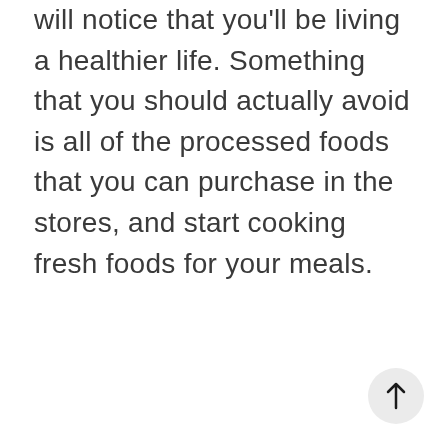will notice that you'll be living a healthier life. Something that you should actually avoid is all of the processed foods that you can purchase in the stores, and start cooking fresh foods for your meals.